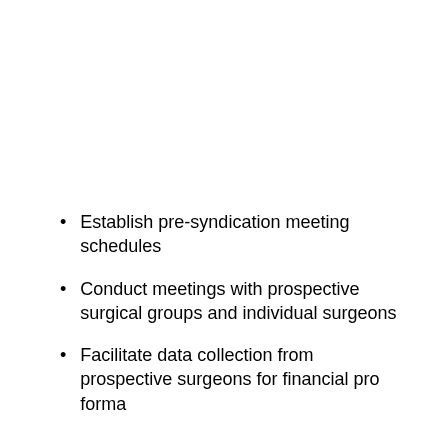Establish pre-syndication meeting schedules
Conduct meetings with prospective surgical groups and individual surgeons
Facilitate data collection from prospective surgeons for financial pro forma